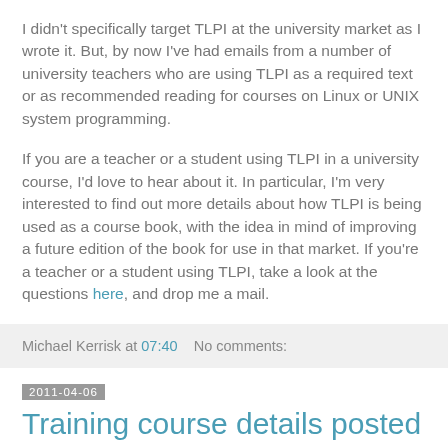I didn't specifically target TLPI at the university market as I wrote it. But, by now I've had emails from a number of university teachers who are using TLPI as a required text or as recommended reading for courses on Linux or UNIX system programming.
If you are a teacher or a student using TLPI in a university course, I'd love to hear about it. In particular, I'm very interested to find out more details about how TLPI is being used as a course book, with the idea in mind of improving a future edition of the book for use in that market. If you're a teacher or a student using TLPI, take a look at the questions here, and drop me a mail.
Michael Kerrisk at 07:40   No comments:
2011-04-06
Training course details posted on my web site